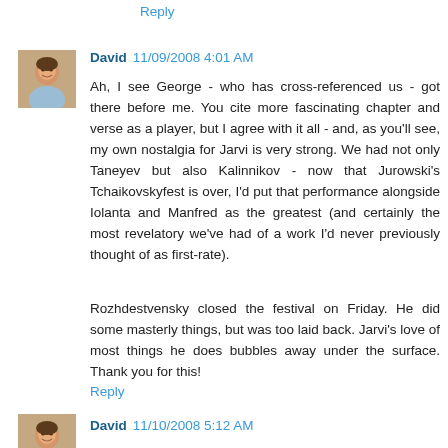Reply
David  11/09/2008 4:01 AM
Ah, I see George - who has cross-referenced us - got there before me. You cite more fascinating chapter and verse as a player, but I agree with it all - and, as you'll see, my own nostalgia for Jarvi is very strong. We had not only Taneyev but also Kalinnikov - now that Jurowski's Tchaikovskyfest is over, I'd put that performance alongside Iolanta and Manfred as the greatest (and certainly the most revelatory we've had of a work I'd never previously thought of as first-rate).
Rozhdestvensky closed the festival on Friday. He did some masterly things, but was too laid back. Jarvi's love of most things he does bubbles away under the surface. Thank you for this!
Reply
David  11/10/2008 5:12 AM